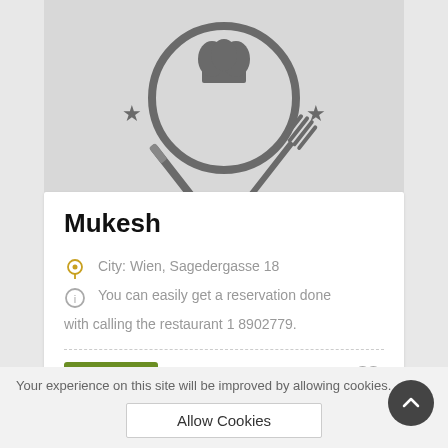[Figure (logo): Restaurant logo with chef hat in circle, knife and fork crossed behind, two stars on sides, gray on light gray background]
Mukesh
City: Wien, Sagedergasse 18
You can easily get a reservation done with calling the restaurant 1 8902779.
Details
Your experience on this site will be improved by allowing cookies.
Allow Cookies